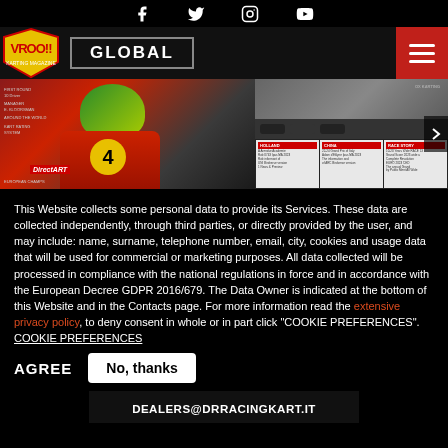Social media icons: Facebook, Twitter, Instagram, YouTube
[Figure (logo): Vroo!! magazine logo with GLOBAL navigation bar and hamburger menu]
[Figure (photo): Karting racing photo strip showing a driver in red suit with helmet number 4, and a karting event scene]
This Website collects some personal data to provide its Services. These data are collected independently, through third parties, or directly provided by the user, and may include: name, surname, telephone number, email, city, cookies and usage data that will be used for commercial or marketing purposes. All data collected will be processed in compliance with the national regulations in force and in accordance with the European Decree GDPR 2016/679. The Data Owner is indicated at the bottom of this Website and in the Contacts page. For more information read the extensive privacy policy, to deny consent in whole or in part click "COOKIE PREFERENCES". COOKIE PREFERENCES
AGREE
No, thanks
DEALERS@DRRACINGKART.IT